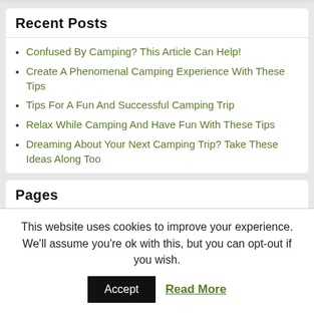Recent Posts
Confused By Camping? This Article Can Help!
Create A Phenomenal Camping Experience With These Tips
Tips For A Fun And Successful Camping Trip
Relax While Camping And Have Fun With These Tips
Dreaming About Your Next Camping Trip? Take These Ideas Along Too
Pages
Contact
Privacy
Terms
This website uses cookies to improve your experience. We'll assume you're ok with this, but you can opt-out if you wish.
Accept
Read More